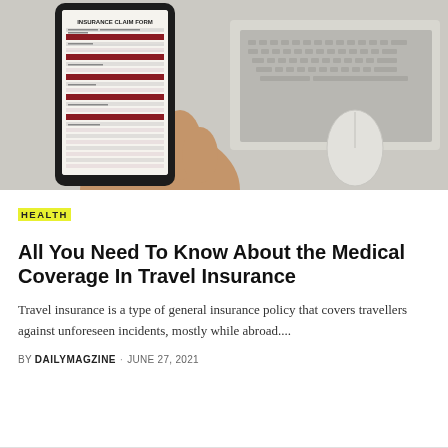[Figure (photo): A hand holding a smartphone displaying an Insurance Claim Form, with a laptop keyboard and mouse visible in the background on a light desk surface.]
HEALTH
All You Need To Know About the Medical Coverage In Travel Insurance
Travel insurance is a type of general insurance policy that covers travellers against unforeseen incidents, mostly while abroad....
BY DAILYMAGZINE · JUNE 27, 2021